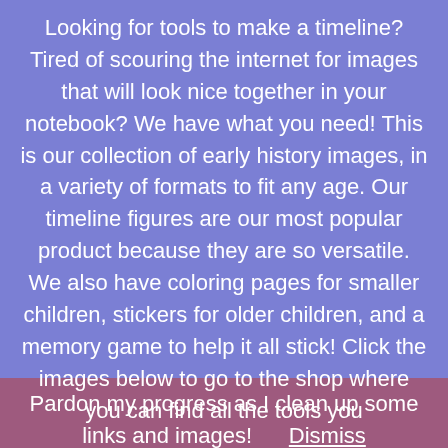Looking for tools to make a timeline? Tired of scouring the internet for images that will look nice together in your notebook? We have what you need! This is our collection of early history images, in a variety of formats to fit any age. Our timeline figures are our most popular product because they are so versatile. We also have coloring pages for smaller children, stickers for older children, and a memory game to help it all stick! Click the images below to go to the shop where you can find all the tools you
Pardon my progress as I clean up some links and images!      Dismiss